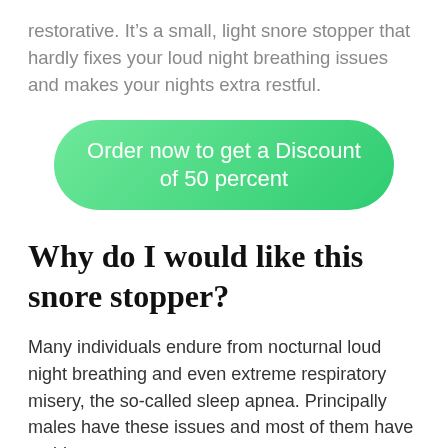restorative. It's a small, light snore stopper that hardly fixes your loud night breathing issues and makes your nights extra restful.
[Figure (other): Green rounded rectangle call-to-action button reading 'Order now to get a Discount of 50 percent']
Why do I would like this snore stopper?
Many individuals endure from nocturnal loud night breathing and even extreme respiratory misery, the so-called sleep apnea. Principally males have these issues and most of them have no idea